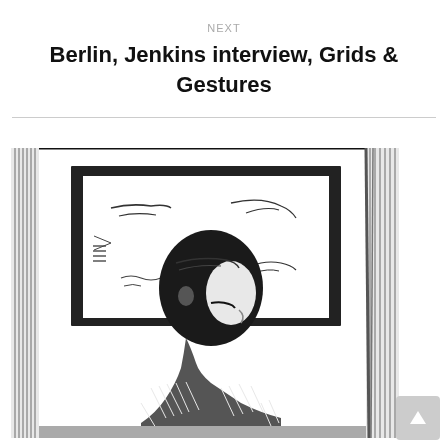NEXT
Berlin, Jenkins interview, Grids & Gestures
[Figure (illustration): Black and white ink sketch of a person in profile view, seated and looking at a framed picture on a wall. The illustration uses cross-hatching technique. The figure appears to be a man with short hair wearing a patterned shirt, viewed from the side. A framed artwork with abstract marks is mounted on a wall behind him. A rope or cord hangs on the right side.]